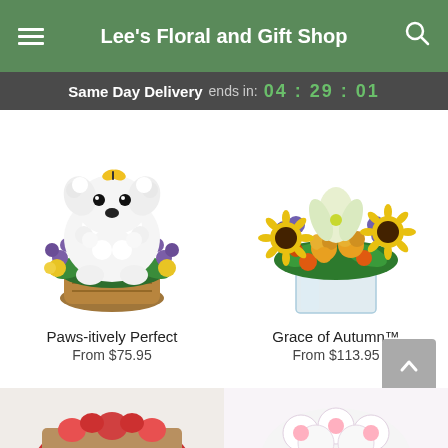Lee's Floral and Gift Shop
Same Day Delivery ends in: 04 : 29 : 01
[Figure (photo): White carnation flower arrangement shaped like a dog/puppy with yellow and purple surrounding flowers in a basket]
Paws-itively Perfect
From $75.95
[Figure (photo): Flower bouquet with sunflowers, orange roses, purple flowers and white lilies in a square glass vase]
Grace of Autumn™
From $113.95
[Figure (photo): Partial view of flower arrangement at bottom left]
[Figure (photo): Partial view of flower arrangement at bottom right]